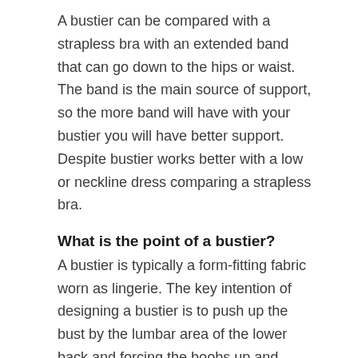A bustier can be compared with a strapless bra with an extended band that can go down to the hips or waist. The band is the main source of support, so the more band will have with your bustier you will have better support. Despite bustier works better with a low or neckline dress comparing a strapless bra.
What is the point of a bustier?
A bustier is typically a form-fitting fabric worn as lingerie. The key intention of designing a bustier is to push up the bust by the lumbar area of the lower back and forcing the boobs up and smoothly shaping the waist.
What can I expect wearing a bustier?
This question also applies as a bustier...